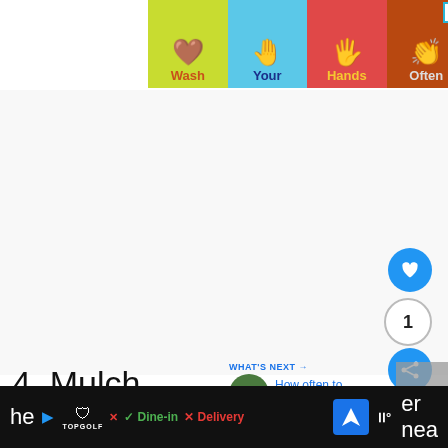[Figure (infographic): Colorful hand-washing advertisement banner with four panels: 'Wash', 'Your', 'Hands', 'Often', each with a hand icon on different colored backgrounds (green, blue, red, brown). Close button in top-right corner.]
[Figure (infographic): Like/heart button (blue circle), count '1', share button (blue circle), and gray partial block on the right sidebar.]
4. Mulch
[Figure (infographic): What's Next widget with thumbnail of green plant/thyme and text 'How often to water thyme...']
Mulching the top of your lemon tree pot will
[Figure (infographic): Bottom advertisement bar for TopGolf showing Dine-in checkmark, Delivery X, navigation icon, and weather indicator on dark background.]